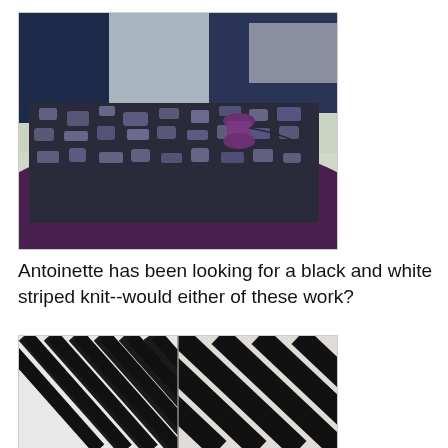[Figure (photo): Photo of folded fabrics stacked on a table: a patterned black and silver/grey brocade fabric on top with a spool of purple thread, a dark purple fabric beneath, and navy blue fabric and other fabrics visible in the background.]
Antoinette has been looking for a black and white striped knit--would either of these work?
[Figure (photo): Close-up photo of two black and white striped knit fabrics side by side. The left fabric has narrower diagonal stripes and the right has slightly wider diagonal stripes, both in black and white.]